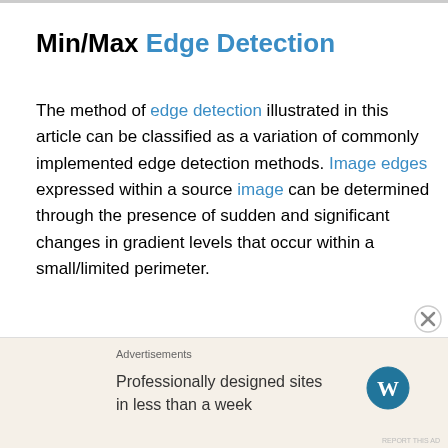Min/Max Edge Detection
The method of edge detection illustrated in this article can be classified as a variation of commonly implemented edge detection methods. Image edges expressed within a source image can be determined through the presence of sudden and significant changes in gradient levels that occur within a small/limited perimeter.
[Figure (other): Advertisement banner: FANDOM ON tumblr — colorful orange to purple gradient banner with decorative icons]
As a means to determine gradient level changes the
[Figure (other): Advertisement: Professionally designed sites in less than a week — WordPress logo]